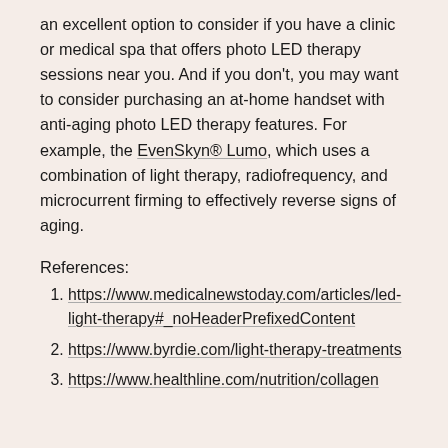an excellent option to consider if you have a clinic or medical spa that offers photo LED therapy sessions near you. And if you don't, you may want to consider purchasing an at-home handset with anti-aging photo LED therapy features. For example, the EvenSkyn® Lumo, which uses a combination of light therapy, radiofrequency, and microcurrent firming to effectively reverse signs of aging.
References:
https://www.medicalnewstoday.com/articles/led-light-therapy#_noHeaderPrefixedContent
https://www.byrdie.com/light-therapy-treatments
https://www.healthline.com/nutrition/collagen